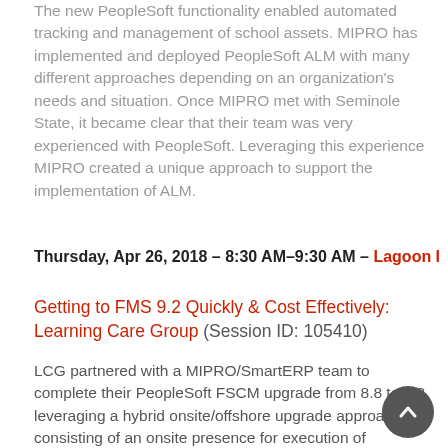The new PeopleSoft functionality enabled automated tracking and management of school assets. MIPRO has implemented and deployed PeopleSoft ALM with many different approaches depending on an organization's needs and situation. Once MIPRO met with Seminole State, it became clear that their team was very experienced with PeopleSoft. Leveraging this experience MIPRO created a unique approach to support the implementation of ALM.
Thursday, Apr 26, 2018 – 8:30 AM–9:30 AM – Lagoon I
Getting to FMS 9.2 Quickly & Cost Effectively: Learning Care Group (Session ID: 105410)
LCG partnered with a MIPRO/SmartERP team to complete their PeopleSoft FSCM upgrade from 8.8 to 9.2 leveraging a hybrid onsite/offshore upgrade approach consisting of an onsite presence for execution of MIPRO's BluePrint Workshop, program management, offshore coordination,